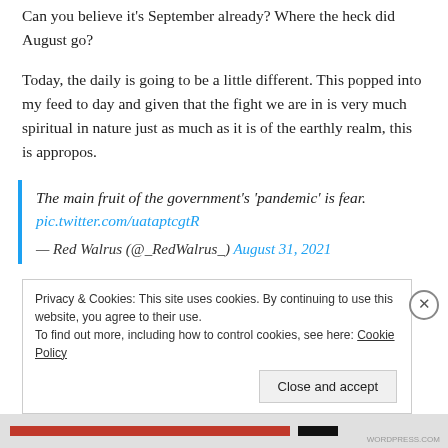Can you believe it's September already? Where the heck did August go?
Today, the daily is going to be a little different. This popped into my feed to day and given that the fight we are in is very much spiritual in nature just as much as it is of the earthly realm, this is appropos.
The main fruit of the government's 'pandemic' is fear.
pic.twitter.com/uataptcgtR
— Red Walrus (@_RedWalrus_) August 31, 2021
Privacy & Cookies: This site uses cookies. By continuing to use this website, you agree to their use.
To find out more, including how to control cookies, see here: Cookie Policy
Close and accept